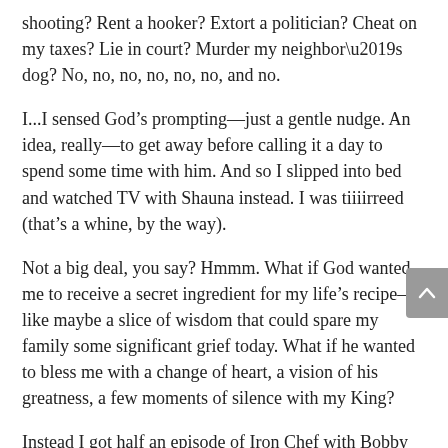shooting? Rent a hooker? Extort a politician? Cheat on my taxes? Lie in court? Murder my neighbor’s dog? No, no, no, no, no, no, and no.
I...I sensed God’s prompting—just a gentle nudge. An idea, really—to get away before calling it a day to spend some time with him. And so I slipped into bed and watched TV with Shauna instead. I was tiiiirreed (that’s a whine, by the way).
Not a big deal, you say? Hmmm. What if God wanted me to receive a secret ingredient for my life’s recipe—like maybe a slice of wisdom that could spare my family some significant grief today. What if he wanted to bless me with a change of heart, a vision of his greatness, a few moments of silence with my King?
Instead I got half an episode of Iron Chef with Bobby Flay. The secret ingredient? Escargot. In other words, I turned down heavenly manna for